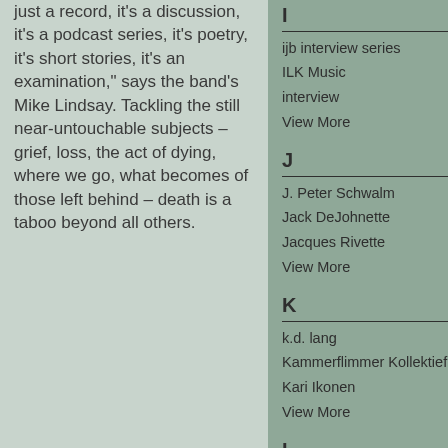just a record, it's a discussion, it's a podcast series, it's poetry, it's short stories, it's an examination," says the band's Mike Lindsay. Tackling the still near-untouchable subjects – grief, loss, the act of dying, where we go, what becomes of those left behind – death is a taboo beyond all others.
I
ijb interview series
ILK Music
interview
View More
J
J. Peter Schwalm
Jack DeJohnette
Jacques Rivette
View More
K
k.d. lang
Kammerflimmer Kollektief
Kari Ikonen
View More
L